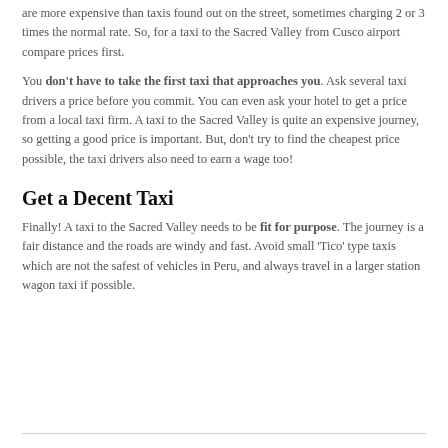are more expensive than taxis found out on the street, sometimes charging 2 or 3 times the normal rate. So, for a taxi to the Sacred Valley from Cusco airport compare prices first.
You don't have to take the first taxi that approaches you. Ask several taxi drivers a price before you commit. You can even ask your hotel to get a price from a local taxi firm. A taxi to the Sacred Valley is quite an expensive journey, so getting a good price is important. But, don't try to find the cheapest price possible, the taxi drivers also need to earn a wage too!
Get a Decent Taxi
Finally! A taxi to the Sacred Valley needs to be fit for purpose. The journey is a fair distance and the roads are windy and fast. Avoid small 'Tico' type taxis which are not the safest of vehicles in Peru, and always travel in a larger station wagon taxi if possible.